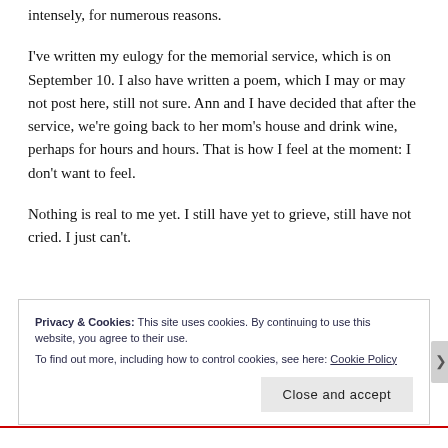intensely, for numerous reasons.
I've written my eulogy for the memorial service, which is on September 10. I also have written a poem, which I may or may not post here, still not sure. Ann and I have decided that after the service, we're going back to her mom's house and drink wine, perhaps for hours and hours. That is how I feel at the moment: I don't want to feel.
Nothing is real to me yet. I still have yet to grieve, still have not cried. I just can't.
Privacy & Cookies: This site uses cookies. By continuing to use this website, you agree to their use.
To find out more, including how to control cookies, see here: Cookie Policy
Close and accept